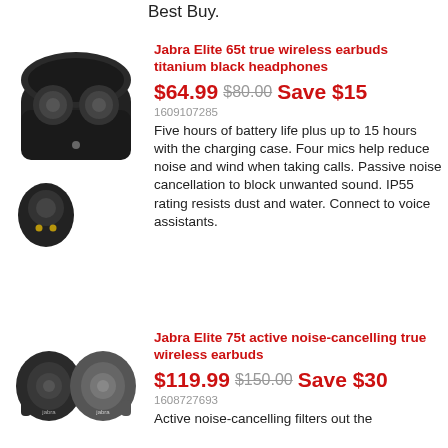Best Buy.
[Figure (photo): Jabra Elite 65t true wireless earbuds in titanium black, shown with charging case open]
Jabra Elite 65t true wireless earbuds titanium black headphones
$64.99 $80.00 Save $15
1609107285
Five hours of battery life plus up to 15 hours with the charging case. Four mics help reduce noise and wind when taking calls. Passive noise cancellation to block unwanted sound. IP55 rating resists dust and water. Connect to voice assistants.
[Figure (photo): Jabra Elite 75t active noise-cancelling true wireless earbuds, shown as pair]
Jabra Elite 75t active noise-cancelling true wireless earbuds
$119.99 $150.00 Save $30
1608727693
Active noise-cancelling filters out the